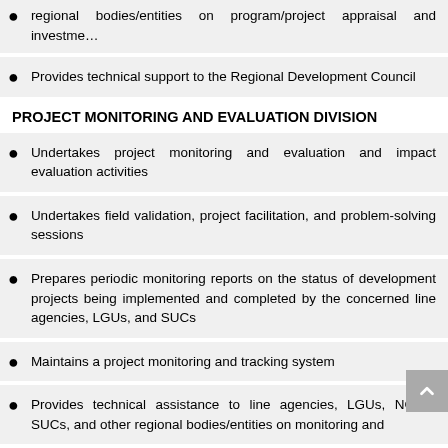regional bodies/entities on program/project appraisal and investment
Provides technical support to the Regional Development Council
PROJECT MONITORING AND EVALUATION DIVISION
Undertakes project monitoring and evaluation and impact evaluation activities
Undertakes field validation, project facilitation, and problem-solving sessions
Prepares periodic monitoring reports on the status of development projects being implemented and completed by the concerned line agencies, LGUs, and SUCs
Maintains a project monitoring and tracking system
Provides technical assistance to line agencies, LGUs, NGOs, SUCs, and other regional bodies/entities on monitoring and